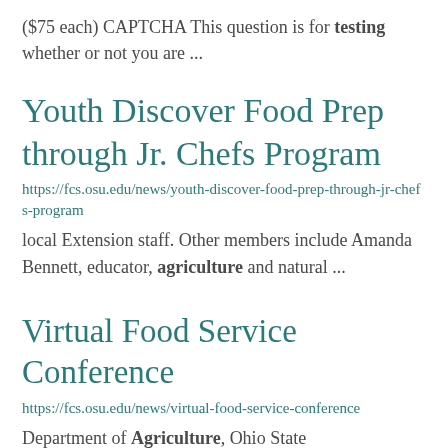($75 each) CAPTCHA This question is for testing whether or not you are ...
Youth Discover Food Prep through Jr. Chefs Program
https://fcs.osu.edu/news/youth-discover-food-prep-through-jr-chefs-program
local Extension staff. Other members include Amanda Bennett, educator, agriculture and natural ...
Virtual Food Service Conference
https://fcs.osu.edu/news/virtual-food-service-conference
Department of Agriculture, Ohio State